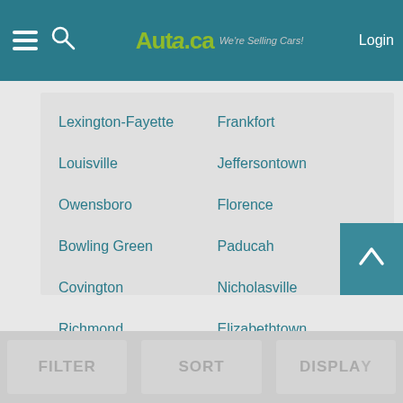Auto.ca - We're Selling Cars! | Login
Lexington-Fayette
Frankfort
Louisville
Jeffersontown
Owensboro
Florence
Bowling Green
Paducah
Covington
Nicholasville
Richmond
Elizabethtown
Hopkinsville
Valley Station
Henderson
Radcliff
FILTER | SORT | DISPLAY